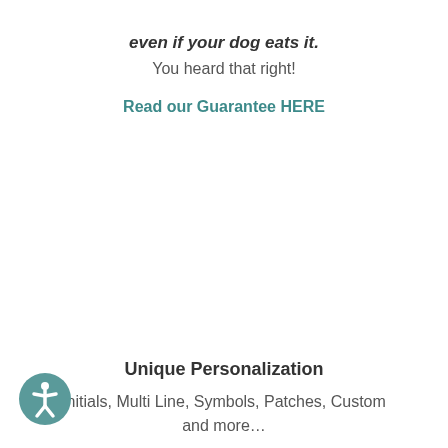even if your dog eats it.
You heard that right!
Read our Guarantee HERE
Unique Personalization
Initials, Multi Line, Symbols, Patches, Custom and more…
[Figure (illustration): Accessibility icon — a person in a circle, teal color]